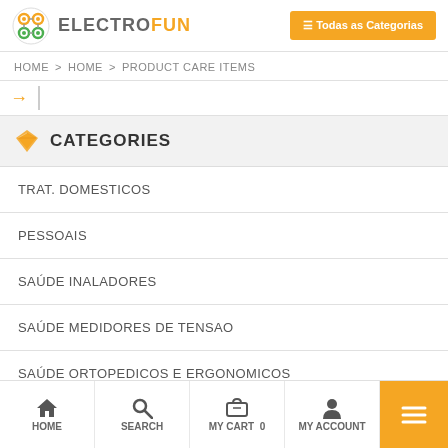ELECTROFUN — Todas as Categorias
HOME > HOME > PRODUCT CARE ITEMS
CATEGORIES
TRAT. DOMESTICOS
PESSOAIS
SAÚDE INALADORES
SAÚDE MEDIDORES DE TENSAO
SAÚDE ORTOPEDICOS E ERGONOMICOS
HOME   SEARCH   MY CART 0   MY ACCOUNT